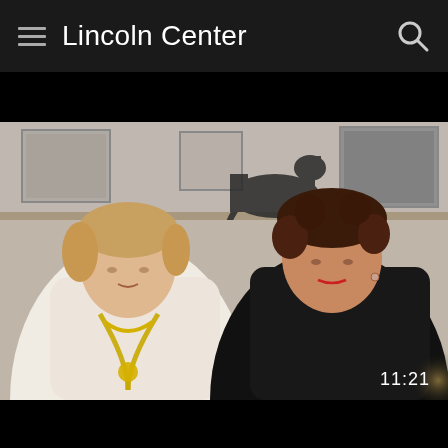Lincoln Center
[Figure (photo): Screenshot of a Lincoln Center website/app showing a video thumbnail of two women seated side by side. The woman on the left wears a cream/white top with a large gold chain necklace; the woman on the right wears a black top. Behind them is a room with shelves, framed artwork, and a horse silhouette. A video duration indicator '11:21' appears in the bottom-right corner of the video frame.]